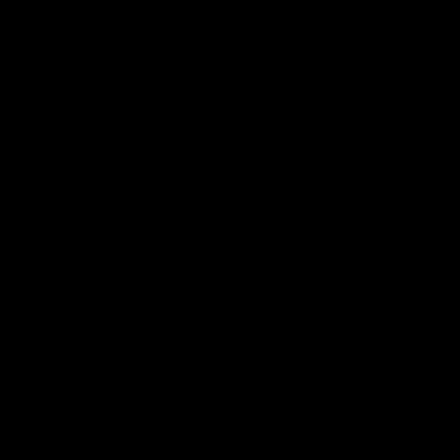[Figure (photo): Entirely black image, no visible content or detail.]